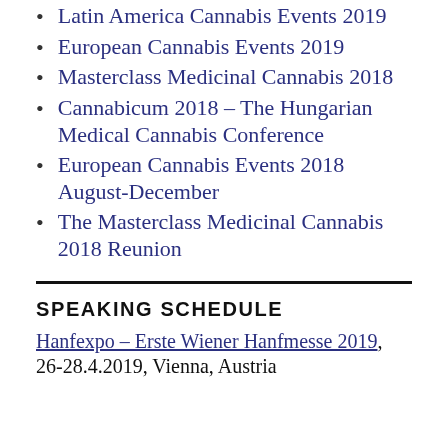Latin America Cannabis Events 2019
European Cannabis Events 2019
Masterclass Medicinal Cannabis 2018
Cannabicum 2018 – The Hungarian Medical Cannabis Conference
European Cannabis Events 2018 August-December
The Masterclass Medicinal Cannabis 2018 Reunion
SPEAKING SCHEDULE
Hanfexpo – Erste Wiener Hanfmesse 2019, 26-28.4.2019, Vienna, Austria